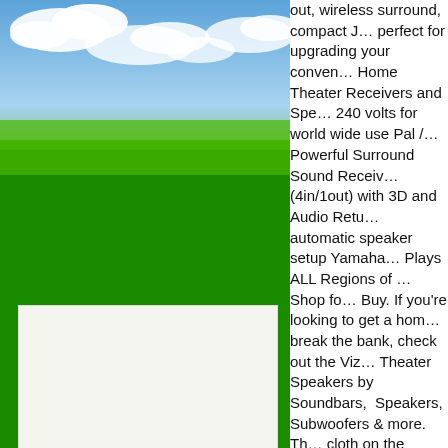[Figure (photo): Sky with clouds and green field/landscape on the left side of the page]
out, wireless surround, compact … perfect for upgrading your conven… Home Theater Receivers and Spe… 240 volts for world wide use Pal /… Powerful Surround Sound Receiv… (4in/1out) with 3D and Audio Retu… automatic speaker setup Yamaha… Plays ALL Regions of … Shop fo… Buy. If you're looking to get a hom… break the bank, check out the Viz… Theater Speakers by Soundbars, … Speakers, Subwoofers & more. Th… cloth on the speakers make giving… apprehensive of the speakers dam… unexpected factors and dust. How… component to the 'V575, then a si… This means that all of the speaker… time. Home Theater Package YHT… featuring MusicCast Surround cap… enhanced entertainment options. … bounce around in the back of a va… have to be able to play for hours …